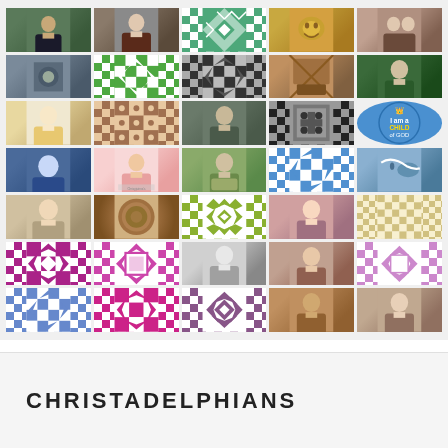[Figure (other): A 5x7 grid of user avatar images and decorative pattern tiles, showing profile photos of various people mixed with geometric quilt-like pattern icons in various colors]
CHRISTADELPHIANS